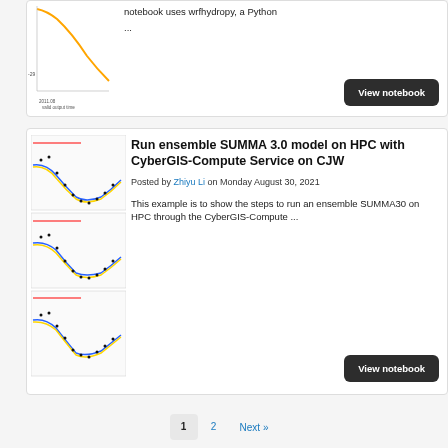[Figure (screenshot): Partial top card showing a line chart thumbnail (orange curve, valid output time axis) and text about wrfhydropy Python notebook]
notebook uses wrfhydropy, a Python ...
View notebook
[Figure (screenshot): Thumbnail showing multiple panel line/scatter charts with colored curves and black dots (SUMMA model output)]
Run ensemble SUMMA 3.0 model on HPC with CyberGIS-Compute Service on CJW
Posted by Zhiyu Li on Monday August 30, 2021
This example is to show the steps to run an ensemble SUMMA30 on HPC through the CyberGIS-Compute ...
View notebook
1  2  Next »